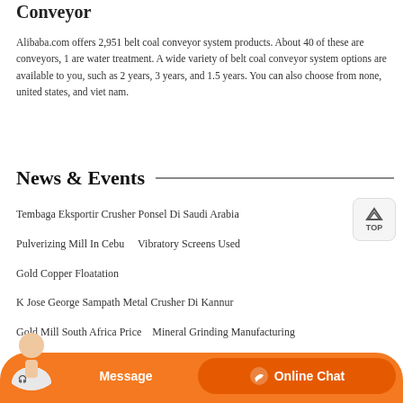Conveyor
Alibaba.com offers 2,951 belt coal conveyor system products. About 40 of these are conveyors, 1 are water treatment. A wide variety of belt coal conveyor system options are available to you, such as 2 years, 3 years, and 1.5 years. You can also choose from none, united states, and viet nam.
News & Events
Tembaga Eksportir Crusher Ponsel Di Saudi Arabia
Pulverizing Mill In Cebu    Vibratory Screens Used
Gold Copper Floatation
K Jose George Sampath Metal Crusher Di Kannur
Gold Mill South Africa Price    Mineral Grinding Manufacturing
Tracked Cone Crushers Sale In United States    Mobile Truck Crushers